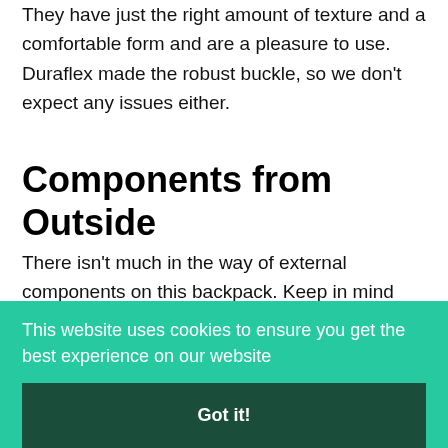They have just the right amount of texture and a comfortable form and are a pleasure to use. Duraflex made the robust buckle, so we don't expect any issues either.
Components from Outside
There isn't much in the way of external components on this backpack. Keep in mind that this is a minimalist pack...
This website uses cookies to ensure you get the best experience on our website
Got it!